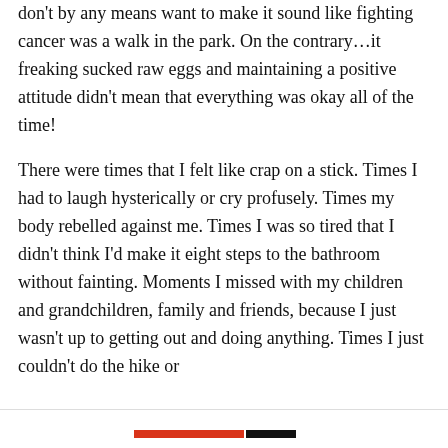don't by any means want to make it sound like fighting cancer was a walk in the park. On the contrary…it freaking sucked raw eggs and maintaining a positive attitude didn't mean that everything was okay all of the time!
There were times that I felt like crap on a stick. Times I had to laugh hysterically or cry profusely. Times my body rebelled against me. Times I was so tired that I didn't think I'd make it eight steps to the bathroom without fainting. Moments I missed with my children and grandchildren, family and friends, because I just wasn't up to getting out and doing anything. Times I just couldn't do the hike or
Privacy & Cookies: This site uses cookies. By continuing to use this website, you agree to their use.
To find out more, including how to control cookies, see here: Cookie Policy